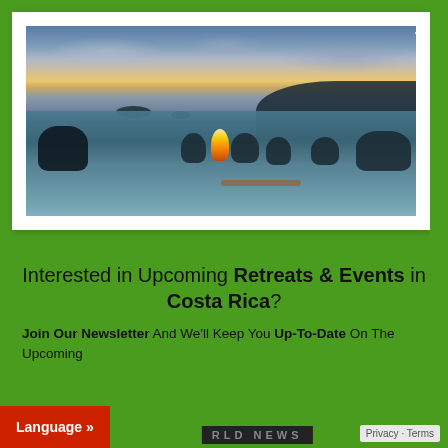[Figure (photo): People in an infinity pool at sunset with a fire centerpiece, overlooking the ocean with islands and a hillside silhouette in Costa Rica]
Interested in Upcoming Retreats & Events in Costa Rica?
Join Our Newsletter And We'll Keep You Up-To-Date On The Upcoming Costa Rica Retreats & Events. As well as...
Language » | RLD NEWS | Privacy · Terms